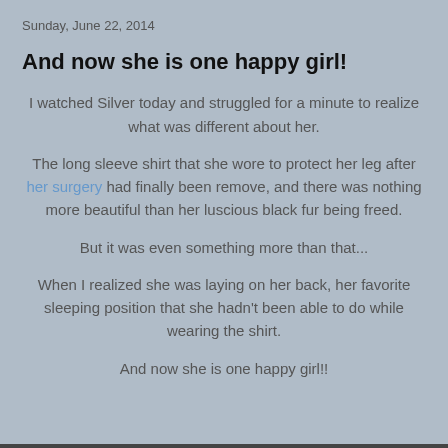Sunday, June 22, 2014
And now she is one happy girl!
I watched Silver today and struggled for a minute to realize what was different about her.
The long sleeve shirt that she wore to protect her leg after her surgery had finally been remove, and there was nothing more beautiful than her luscious black fur being freed.
But it was even something more than that...
When I realized she was laying on her back, her favorite sleeping position that she hadn't been able to do while wearing the shirt.
And now she is one happy girl!!